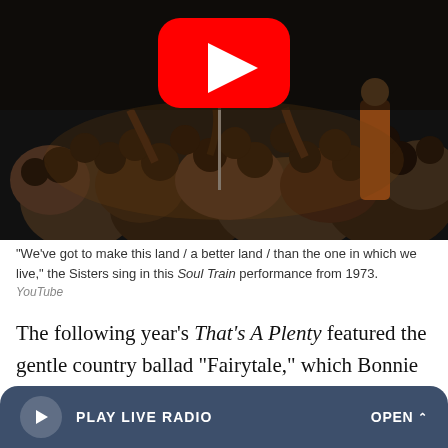[Figure (screenshot): YouTube video thumbnail showing a Soul Train performance from 1973 with a crowd of people and a YouTube play button overlay]
"We've got to make this land / a better land / than the one in which we live," the Sisters sing in this Soul Train performance from 1973.
YouTube
The following year's That's A Plenty featured the gentle country ballad "Fairytale," which Bonnie and Anita co-wrote. The song crossed over to the pop charts, won Best Country Vocal Performance by a Duo or Group at the Grammys, and was later cut by Elvis Presley. Bonnie also